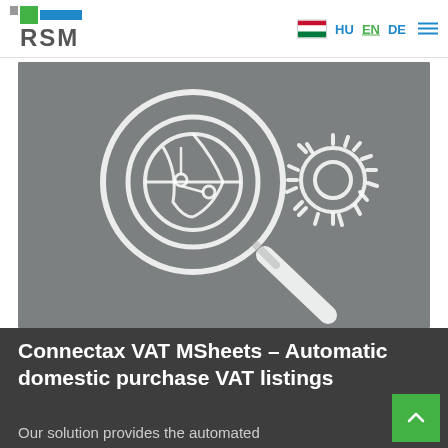RSM — HU EN DE navigation header
[Figure (illustration): Magnifying glass with a globe/network icon and a gear icon, white outlines on gray background — RSM Connectax VAT MSheets product illustration]
Connectax VAT MSheets – Automatic domestic purchase VAT listings
Our solution provides the automated